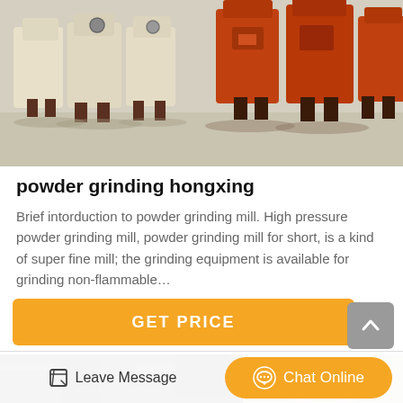[Figure (photo): Industrial grinding machines (cone crushers and orange-colored equipment) lined up in a factory warehouse]
powder grinding hongxing
Brief intorduction to powder grinding mill. High pressure powder grinding mill, powder grinding mill for short, is a kind of super fine mill; the grinding equipment is available for grinding non-flammable…
GET PRICE
[Figure (photo): Partial view of industrial machinery/piping and grinding equipment]
Leave Message
Chat Online